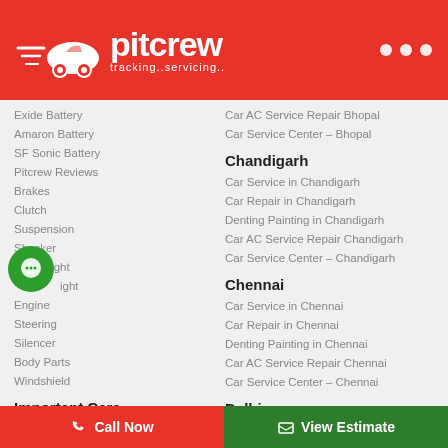pitcrew tracking..servicing..
Exide Battery
Amaron Battery
SF Sonic Battery
Pitcrew Reviews
Brakes
Clutch
Suspension
Shocker
Head Light
ight
Engine
Steering
Silencer
Body Parts
Windshield
Important Cars
WagonR Service Schedule
Alto K10 Service Schedule
Swift Service Schedule
Swift Dzire Service Schedule
Car AC Service Repair Bhopal
Car Service Center – Bhopal
Chandigarh
Car Service in Chandigarh
Car Repair in Chandigarh
Denting Painting in Chandigarh
Car AC Service Repair Chandigarh
Car Service Center – Chandigarh
Chennai
Car Service in Chennai
Car Repair in Chennai
Denting Painting in Chennai
Car AC Service Repair Chennai
Car Service Center – Chennai
Delhi
Car Service in Delhi
Call Now   View Estimate